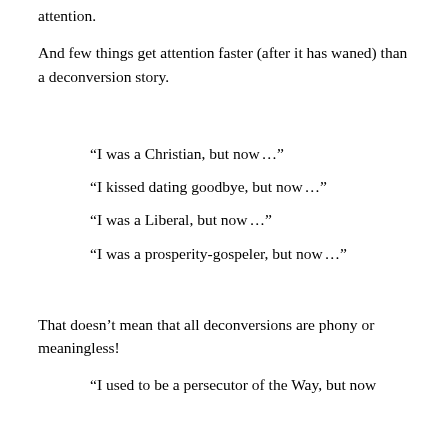attention.
And few things get attention faster (after it has waned) than a deconversion story.
“I was a Christian, but now…”
“I kissed dating goodbye, but now…”
“I was a Liberal, but now…”
“I was a prosperity-gospeler, but now…”
That doesn’t mean that all deconversions are phony or meaningless!
“I used to be a persecutor of the Way, but now